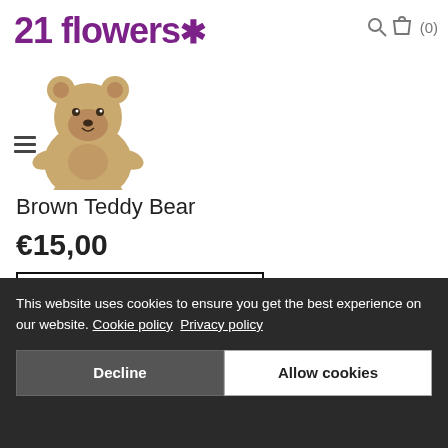21 flowers*
[Figure (photo): Brown teddy bear product photo, partially cropped at top, showing the bear sitting against a white background]
Brown Teddy Bear
€15,00
ADD TO CART
[Figure (photo): Ferrero Rocher box of chocolates product photo on white background]
This website uses cookies to ensure you get the best experience on our website. Cookie policy   Privacy policy
Decline
Allow cookies